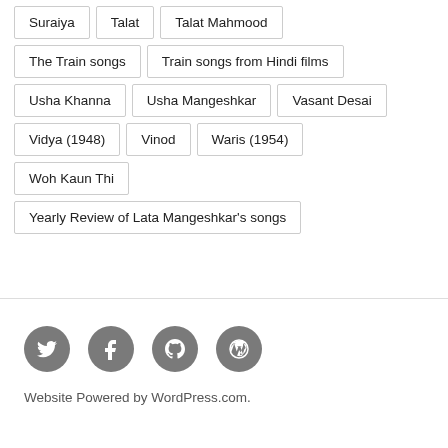Suraiya
Talat
Talat Mahmood
The Train songs
Train songs from Hindi films
Usha Khanna
Usha Mangeshkar
Vasant Desai
Vidya (1948)
Vinod
Waris (1954)
Woh Kaun Thi
Yearly Review of Lata Mangeshkar's songs
[Figure (infographic): Four circular social media icons: Twitter (bird), Facebook (f), GitHub (octocat), WordPress (W)]
Website Powered by WordPress.com.